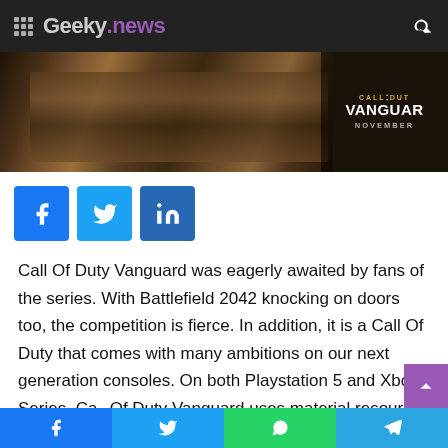Geeky.news
[Figure (screenshot): Call of Duty Vanguard promotional banner showing worn military gear with text 'CALL OF DUTY VANGUARD NOVEMBER' overlaid on a dark background]
[Figure (infographic): Social share buttons: Facebook (blue), Twitter (light blue), LinkedIn (dark blue)]
Call Of Duty Vanguard was eagerly awaited by fans of the series. With Battlefield 2042 knocking on doors too, the competition is fierce. In addition, it is a Call Of Duty that comes with many ambitions on our next generation consoles. On both Playstation 5 and Xbox Series, Call Of Duty Vanguard uses material resources to the
Facebook | Twitter | WhatsApp | Telegram